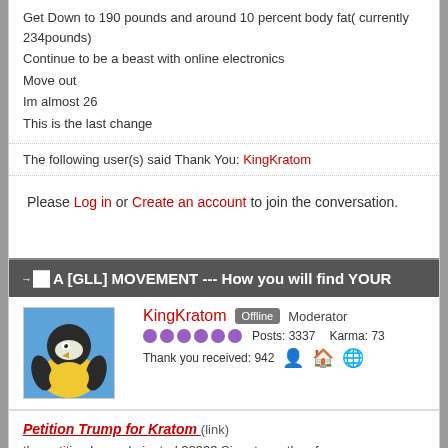Get Down to 190 pounds and around 10 percent body fat( currently 234pounds)
Continue to be a beast with online electronics
Move out
Im almost 26
This is the last change
The following user(s) said Thank You: KingKratom
Please Log in or Create an account to join the conversation.
A [GLL] MOVEMENT --- How you will find YOUR
KingKratom  Offline  Moderator
Posts: 3337  Karma: 73
Thank you received: 942
Petition Trump for Kratom (link)
the petition has culminated 22933 Signatures thus far